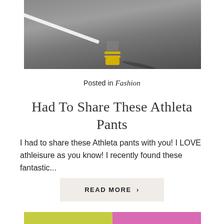[Figure (photo): Cropped photo from above showing a person's feet wearing yellow sandals on a grey asphalt road with a white painted line]
Posted in Fashion
Had To Share These Athleta Pants
I had to share these Athleta pants with you! I LOVE athleisure as you know! I recently found these fantastic...
READ MORE >
[Figure (photo): Bottom portion of a photo showing a person with white/blonde hair standing against a wall painted half yellow-green and half pink]